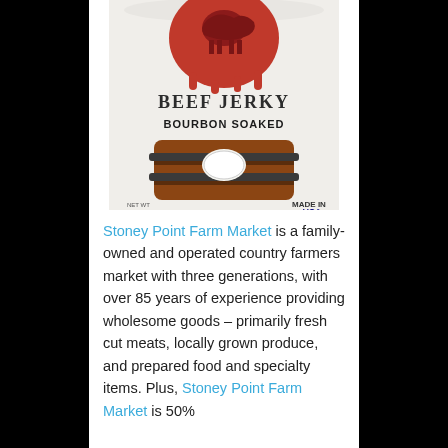[Figure (photo): A package of Beef Jerky - Bourbon Soaked, showing a white plastic bag with a red wax seal logo at top and beef jerky pieces visible inside, labeled MADE IN USA]
Stoney Point Farm Market is a family-owned and operated country farmers market with three generations, with over 85 years of experience providing wholesome goods – primarily fresh cut meats, locally grown produce, and prepared food and specialty items. Plus, Stoney Point Farm Market is 50%...